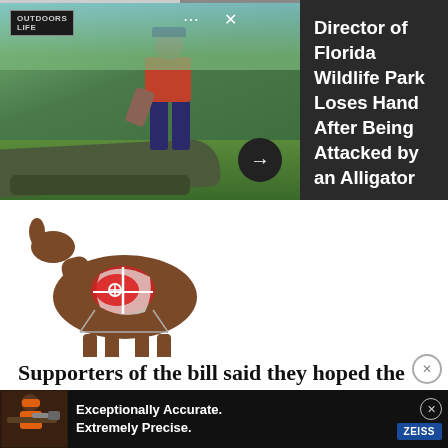[Figure (photo): A man bending over near an alligator outdoors at a wildlife park, with trees in the background. An Outdoors Life logo is in the top left. Navigation dots and X close button visible top right. Arrow button at bottom right.]
Director of Florida Wildlife Park Loses Hand After Being Attacked by an Alligator
[Figure (photo): A 3D deer archery target showing internal anatomy cutaway sections in red and white, standing on a white background.]
Supporters of the bill said they hoped the measure would help strengthen the decline in the growth of hunting in The ... re
[Figure (photo): Advertisement banner: hunter with rifle scope, text reading 'Exceptionally Accurate. Extremely Precise.' with Zeiss logo and close X button.]